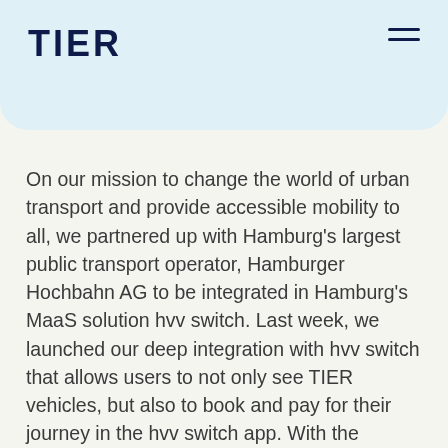TIER
On our mission to change the world of urban transport and provide accessible mobility to all, we partnered up with Hamburg’s largest public transport operator, Hamburger Hochbahn AG to be integrated in Hamburg’s MaaS solution hvv switch. Last week, we launched our deep integration with hvv switch that allows users to not only see TIER vehicles, but also to book and pay for their journey in the hvv switch app. With the integration in hvv switch we are adding one more important